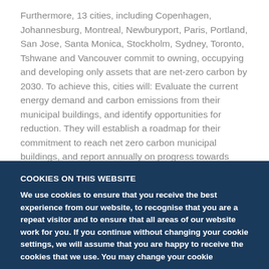Furthermore, 13 cities, including Copenhagen, Johannesburg, Montreal, Newburyport, Paris, Portland, San Jose, Santa Monica, Stockholm, Sydney, Toronto, Tshwane and Vancouver commit to owning, occupying and developing only assets that are net-zero carbon by 2030. To achieve this, cities will: Evaluate the current energy demand and carbon emissions from their municipal buildings, and identify opportunities for reduction. They will establish a roadmap for their commitment to reach net zero carbon municipal buildings, and report annually on progress towards meeting their targets, and evaluate the feasibility of including emissions beyond operational carbon (such as refrigerants).
COOKIES ON THIS WEBSITE
We use cookies to ensure that you receive the best experience from our website, to recognise that you are a repeat visitor and to ensure that all areas of our website work for you. If you continue without changing your cookie settings, we will assume that you are happy to receive the cookies that we use. You may change your cookie